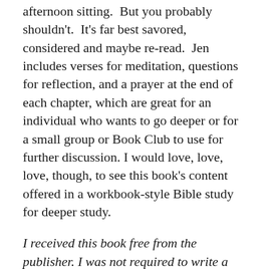afternoon sitting.  But you probably shouldn't.  It's far best savored, considered and maybe re-read.  Jen includes verses for meditation, questions for reflection, and a prayer at the end of each chapter, which are great for an individual who wants to go deeper or for a small group or Book Club to use for further discussion. I would love, love, love, though, to see this book's content offered in a workbook-style Bible study for deeper study.
I received this book free from the publisher. I was not required to write a positive review and the opinions I have expressed are my own. I am disclosing this in accordance with the Federal Trade Commission's 16 CFR, Part 255 : "Guides Concerning the Use of Endorsements and Testimonials in Advertising."
Disclaimer: Heather King is a participant in the